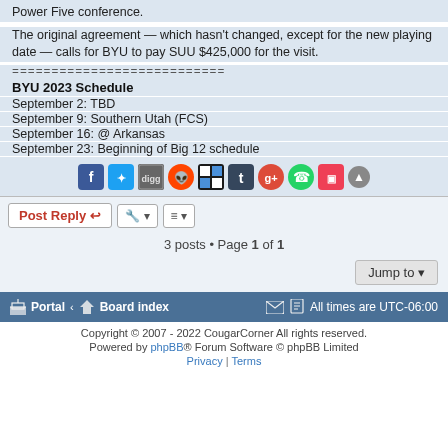Power Five conference.
The original agreement — which hasn't changed, except for the new playing date — calls for BYU to pay SUU $425,000 for the visit.
===========================
BYU 2023 Schedule
September 2: TBD
September 9: Southern Utah (FCS)
September 16: @ Arkansas
September 23: Beginning of Big 12 schedule
[Figure (other): Social media sharing icons: Facebook, Twitter, Digg, Reddit, Delicious, Tumblr, Google+, WhatsApp, Pocket, and scroll-to-top button]
Post Reply | Tools | Sort posts
3 posts • Page 1 of 1
Jump to
Portal · Board index | All times are UTC-06:00
Copyright © 2007 - 2022 CougarCorner All rights reserved.
Powered by phpBB® Forum Software © phpBB Limited
Privacy | Terms